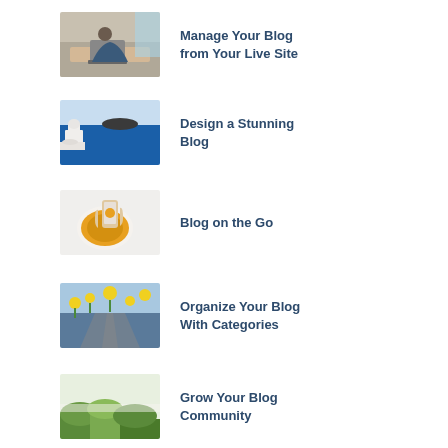[Figure (photo): Person leaning over a desk working on a laptop]
Manage Your Blog from Your Live Site
[Figure (photo): Aerial view of blue ocean water and white architecture]
Design a Stunning Blog
[Figure (photo): Hand holding a phone photographing a bowl of soup]
Blog on the Go
[Figure (photo): Aerial view of flowers and a road with cars]
Organize Your Blog With Categories
[Figure (photo): Green plants on a table]
Grow Your Blog Community